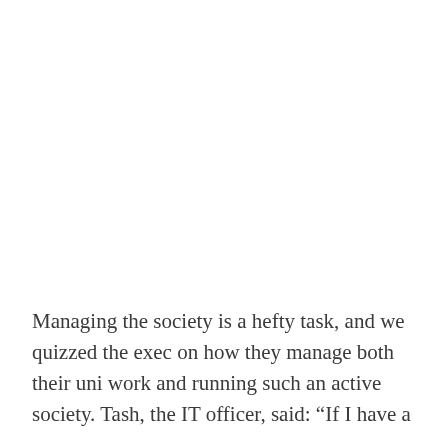Managing the society is a hefty task, and we quizzed the exec on how they manage both their uni work and running such an active society. Tash, the IT officer, said: “If I have a